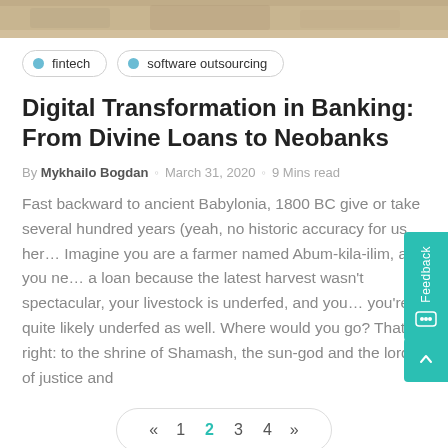[Figure (photo): Partial view of an outdoor photo at the top of the page showing a muted, sandy/rocky texture]
fintech
software outsourcing
Digital Transformation in Banking: From Divine Loans to Neobanks
By Mykhailo Bogdan · March 31, 2020 · 9 Mins read
Fast backward to ancient Babylonia, 1800 BC give or take several hundred years (yeah, no historic accuracy for us her… Imagine you are a farmer named Abum-kila-ilim, and you ne… a loan because the latest harvest wasn't spectacular, your livestock is underfed, and you… you're quite likely underfed as well. Where would you go? That's right: to the shrine of Shamash, the sun-god and the lord of justice and
« 1 2 3 4 »